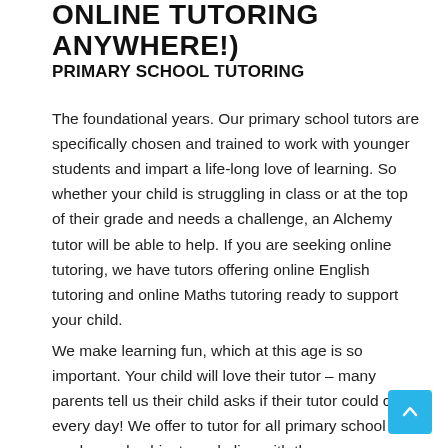ONLINE TUTORING ANYWHERE!)
PRIMARY SCHOOL TUTORING
The foundational years. Our primary school tutors are specifically chosen and trained to work with younger students and impart a life-long love of learning. So whether your child is struggling in class or at the top of their grade and needs a challenge, an Alchemy tutor will be able to help. If you are seeking online tutoring, we have tutors offering online English tutoring and online Maths tutoring ready to support your child.
We make learning fun, which at this age is so important. Your child will love their tutor – many parents tell us their child asks if their tutor could come every day! We offer to tutor for all primary school grades and subjects and align with the